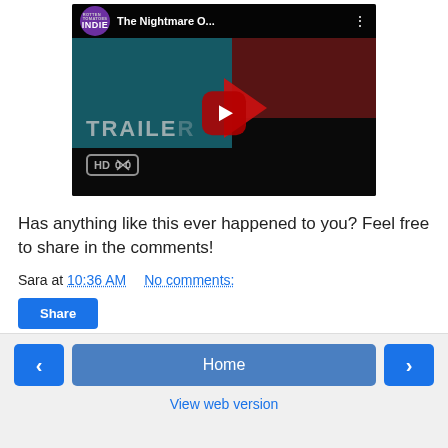[Figure (screenshot): YouTube video thumbnail showing 'The Nightmare O...' with INDIE channel badge, play button, TRAILER text, and HD badge on dark background]
Has anything like this ever happened to you? Feel free to share in the comments!
Sara at 10:36 AM    No comments:
Share
< | Home | >  View web version